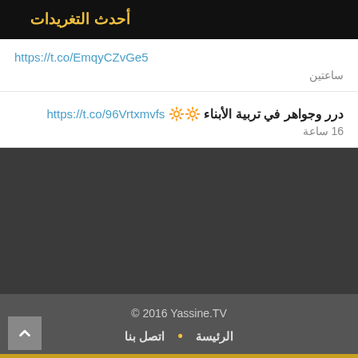أحدث التغريدات
https://t.co/EmqyCZvGe5
ساعتين
درر وجواهر في تربية الأبناء 🔆🔆 https://t.co/96Vrtxmvfs
16 ساعة
© 2016 Yassine.TV
الرئيسة • اتصل بنا